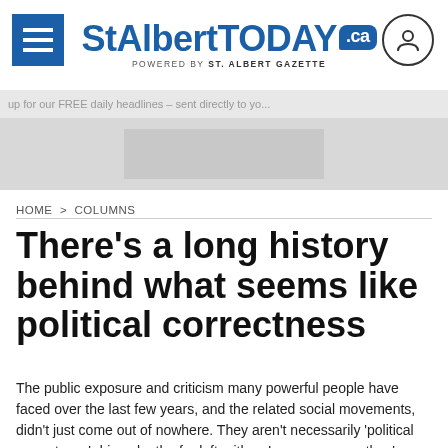StAlbertTODAY.ca — POWERED BY ST. ALBERT GAZETTE
up for our FREE daily headlines – sent directly to yo...
HOME > COLUMNS
There's a long history behind what seems like political correctness
The public exposure and criticism many powerful people have faced over the last few years, and the related social movements, didn't just come out of nowhere. They aren't necessarily 'political correctness' driven by the far left, either. In many cases, they're related to issues that have